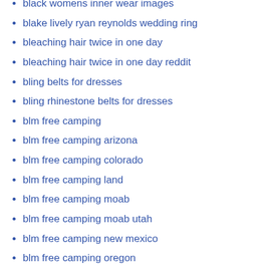black womens inner wear images
blake lively ryan reynolds wedding ring
bleaching hair twice in one day
bleaching hair twice in one day reddit
bling belts for dresses
bling rhinestone belts for dresses
blm free camping
blm free camping arizona
blm free camping colorado
blm free camping land
blm free camping moab
blm free camping moab utah
blm free camping new mexico
blm free camping oregon
blm free camping texas